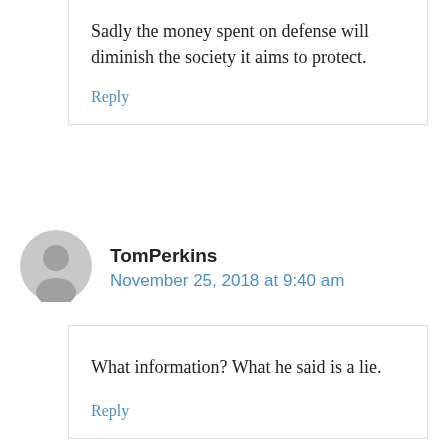Sadly the money spent on defense will diminish the society it aims to protect.
Reply
TomPerkins
November 25, 2018 at 9:40 am
What information? What he said is a lie.
Reply